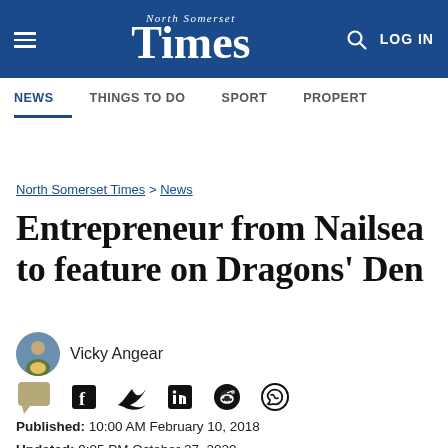North Somerset Times
NEWS  THINGS TO DO  SPORT  PROPERTY
North Somerset Times > News
Entrepreneur from Nailsea to feature on Dragons' Den
Vicky Angear
Published: 10:00 AM February 10, 2018
Updated: 9:05 PM October 27, 2020